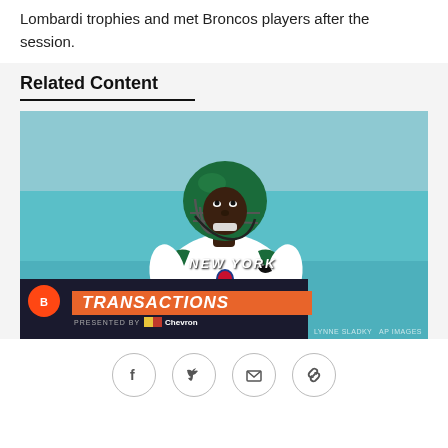Lombardi trophies and met Broncos players after the session.
Related Content
[Figure (photo): NFL player wearing New York Jets white jersey and green helmet, looking upward on the field. Overlay shows Denver Broncos 'TRANSACTIONS' banner in orange/dark blue with Chevron sponsorship. Photo credit: LYNNE SLADKY / AP IMAGES]
[Figure (infographic): Four social sharing icon circles: Facebook, Twitter, Email, Link/Chain]